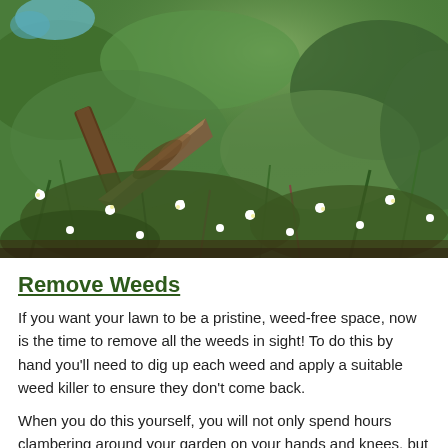[Figure (photo): Close-up photo of a garden with small white flowers, green weeds and plants, and a rusty metal trowel or garden tool partially visible, digging into soil with moss and greenery.]
Remove Weeds
If you want your lawn to be a pristine, weed-free space, now is the time to remove all the weeds in sight! To do this by hand you'll need to dig up each weed and apply a suitable weed killer to ensure they don't come back.
When you do this yourself, you will not only spend hours clambering around your garden on your hands and knees, but you also run the risk of choosing and applying a weed killer that might inhibit the growth of